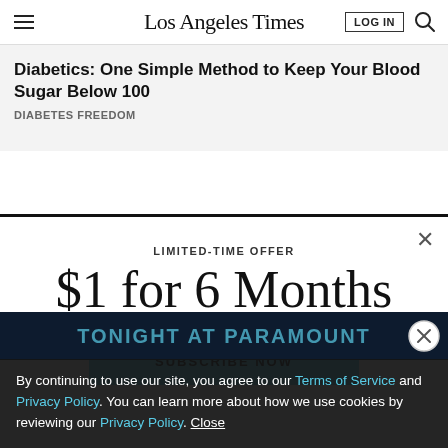Los Angeles Times
Diabetics: One Simple Method to Keep Your Blood Sugar Below 100
DIABETES FREEDOM
LIMITED-TIME OFFER
$1 for 6 Months
SUBSCRIBE NOW
By continuing to use our site, you agree to our Terms of Service and Privacy Policy. You can learn more about how we use cookies by reviewing our Privacy Policy. Close